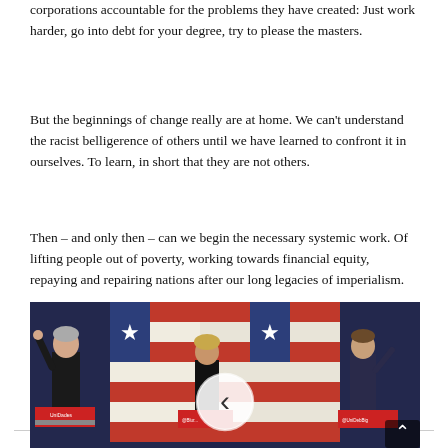corporations accountable for the problems they have created: Just work harder, go into debt for your degree, try to please the masters.
But the beginnings of change really are at home. We can't understand the racist belligerence of others until we have learned to confront it in ourselves. To learn, in short that they are not others.
Then – and only then – can we begin the necessary systemic work. Of lifting people out of poverty, working towards financial equity, repaying and repairing nations after our long legacies of imperialism.
For aNewDomain, I'm Jason Dias.
[Figure (photo): Three figures standing at debate podiums in front of American flag backdrop, with a circular back-navigation arrow overlay in the center. The figures appear to be political candidates at a presidential debate.]